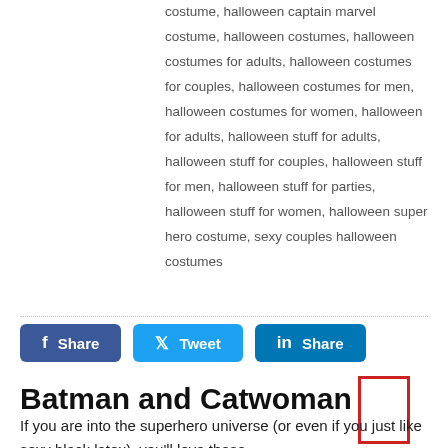costume, halloween captain marvel costume, halloween costumes, halloween costumes for adults, halloween costumes for couples, halloween costumes for men, halloween costumes for women, halloween for adults, halloween stuff for adults, halloween stuff for couples, halloween stuff for men, halloween stuff for parties, halloween stuff for women, halloween super hero costume, sexy couples halloween costumes
[Figure (other): Social share buttons: Facebook Share, Twitter Tweet, LinkedIn Share]
Batman and Catwoman
If you are into the superhero universe (or even if you just like sexy black latex), you'll love these